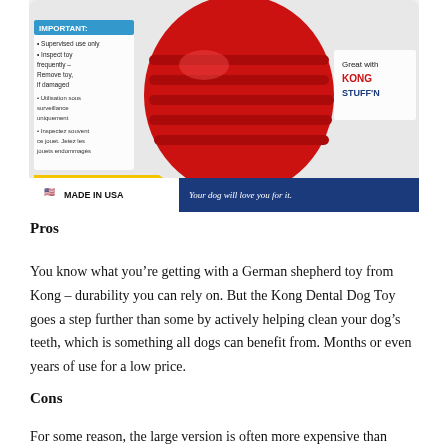[Figure (photo): KONG Dental Dog Toy product packaging photo showing a red ribbed rubber toy with treat insertions, text 'INSERT TREATS', 'Made in USA', 'Great with KONG STUFF'N', and tagline 'Your dog will love you for it.']
Pros
You know what you’re getting with a German shepherd toy from Kong – durability you can rely on. But the Kong Dental Dog Toy goes a step further than some by actively helping clean your dog’s teeth, which is something all dogs can benefit from. Months or even years of use for a low price.
Cons
For some reason, the large version is often more expensive than